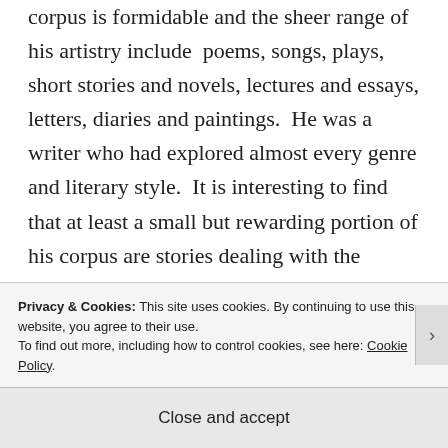corpus is formidable and the sheer range of his artistry include  poems, songs, plays, short stories and novels, lectures and essays, letters, diaries and paintings.  He was a writer who had explored almost every genre and literary style.  It is interesting to find that at least a small but rewarding portion of his corpus are stories dealing with the supernatural.  These stories contain a network of romantic imagery dealing
Privacy & Cookies: This site uses cookies. By continuing to use this website, you agree to their use.
To find out more, including how to control cookies, see here: Cookie Policy
Close and accept